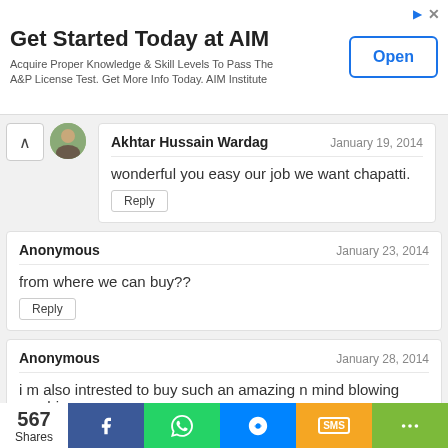[Figure (screenshot): Advertisement banner for AIM Institute with title 'Get Started Today at AIM', subtitle text, and an Open button]
Akhtar Hussain Wardag
January 19, 2014
wonderful you easy our job we want chapatti.
Reply
Anonymous
January 23, 2014
from where we can buy??
Reply
Anonymous
January 28, 2014
i m also intrested to buy such an amazing n mind blowing machine.
567 Shares